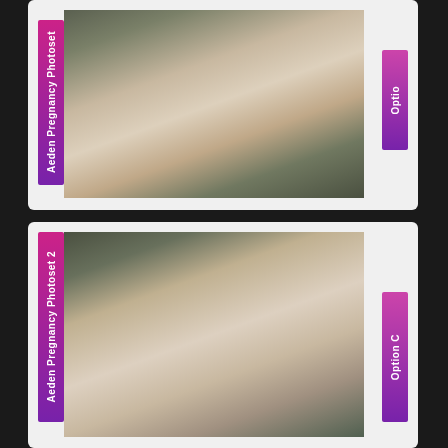[Figure (photo): Top card: Aeden Pregnancy Photoset cover image with left vertical label 'Aeden Pregnancy Photoset' in pink/purple gradient bar, and right vertical label 'Option' in pink/purple gradient bar. Outdoor photo of pregnant woman.]
[Figure (photo): Bottom card: Aeden Pregnancy Photoset 2 cover image with left vertical label 'Aeden Pregnancy Photoset 2' in pink/purple gradient bar, and right vertical label 'Option C' in pink/purple gradient bar. Outdoor photo of pregnant woman with arms raised.]